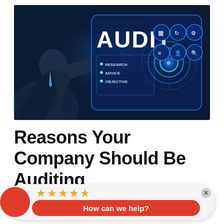[Figure (photo): Businessman touching a glowing digital audit interface with icons for research, advice, objective, and circular data visualizations. The word AUDIT is prominently displayed in bold white text on the holographic screen.]
Reasons Your Company Should Be Auditing
[Figure (infographic): Chat/rating widget overlay with a red circle on the left, five gold stars rating, a close (x) button, and a red pill-shaped button reading 'How can we help?']